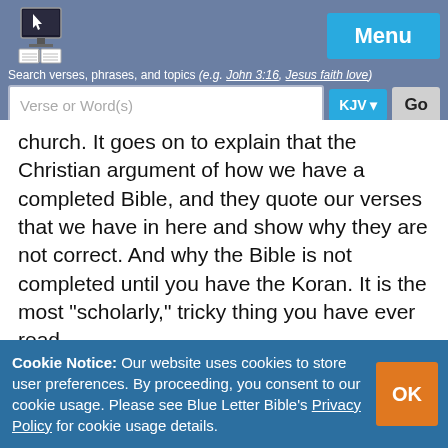[Figure (logo): Blue Letter Bible logo with computer and open book icon]
Menu
Search verses, phrases, and topics (e.g. John 3:16, Jesus faith love)
Verse or Word(s)  KJV  Go
Help | Quick Nav | Options
church. It goes on to explain that the Christian argument of how we have a completed Bible, and they quote our verses that we have in here and show why they are not correct. And why the Bible is not completed until you have the Koran. It is the most "scholarly," tricky thing you have ever read.

You know, the devil's coming out with some heavy guns lately. You better know what you believe about
Cookie Notice: Our website uses cookies to store user preferences. By proceeding, you consent to our cookie usage. Please see Blue Letter Bible's Privacy Policy for cookie usage details.